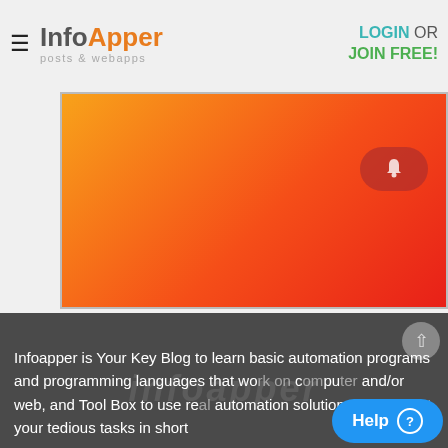≡  InfoApper posts & webapps   LOGIN OR JOIN FREE!
[Figure (screenshot): Orange-to-red gradient banner image with a rounded bell/notification button overlay in the upper-right area of the banner.]
Infoapper is Your Key Blog to learn basic automation programs and programming languages that work on computer and/or web, and Tool Box to use real automation solutions to carry out your tedious tasks in short